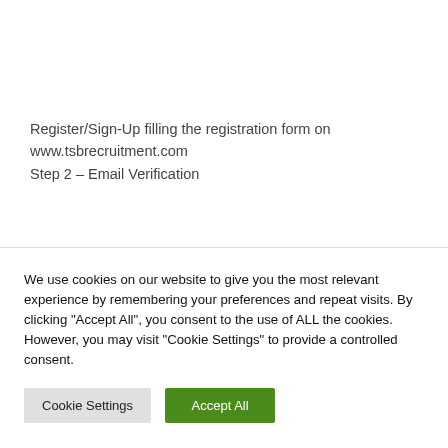Register/Sign-Up filling the registration form on www.tsbrecruitment.com
Step 2 – Email Verification
We use cookies on our website to give you the most relevant experience by remembering your preferences and repeat visits. By clicking "Accept All", you consent to the use of ALL the cookies. However, you may visit "Cookie Settings" to provide a controlled consent.